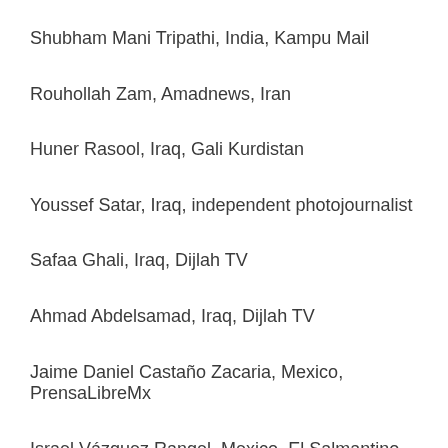Shubham Mani Tripathi, India, Kampu Mail
Rouhollah Zam, Amadnews, Iran
Huner Rasool, Iraq, Gali Kurdistan
Youssef Satar, Iraq, independent photojournalist
Safaa Ghali, Iraq, Dijlah TV
Ahmad Abdelsamad, Iraq, Dijlah TV
Jaime Daniel Castaño Zacaria, Mexico, PrensaLibreMx
Israel Vázquez Rangel, Mexico, El Salmantino